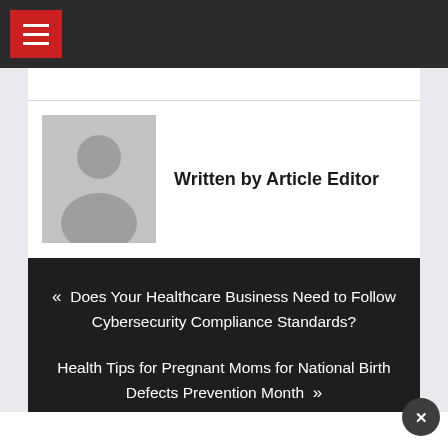Written by Article Editor
[Figure (illustration): Grey placeholder avatar silhouette of a person on a light grey background]
« Does Your Healthcare Business Need to Follow Cybersecurity Compliance Standards?
Health Tips for Pregnant Moms for National Birth Defects Prevention Month »